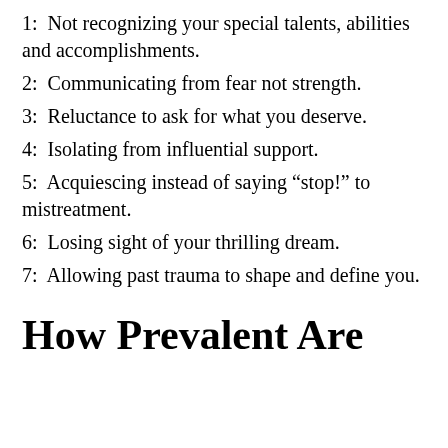1:  Not recognizing your special talents, abilities and accomplishments.
2:  Communicating from fear not strength.
3:  Reluctance to ask for what you deserve.
4:  Isolating from influential support.
5:  Acquiescing instead of saying “stop!” to mistreatment.
6:  Losing sight of your thrilling dream.
7:  Allowing past trauma to shape and define you.
How Prevalent Are